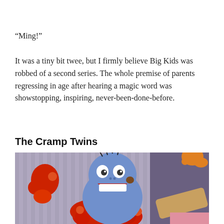“Ming!”
It was a tiny bit twee, but I firmly believe Big Kids was robbed of a second series. The whole premise of parents regressing in age after hearing a magic word was showstopping, inspiring, never-been-done-before.
The Cramp Twins
[Figure (photo): Screenshot from The Cramp Twins animated series showing a blue-skinned character with spiky black hair, wide eyes, and a big toothy grin, surrounded by red/orange paint splashes and blobs on a purple striped background, with a tan/yellow figure visible on the right edge.]